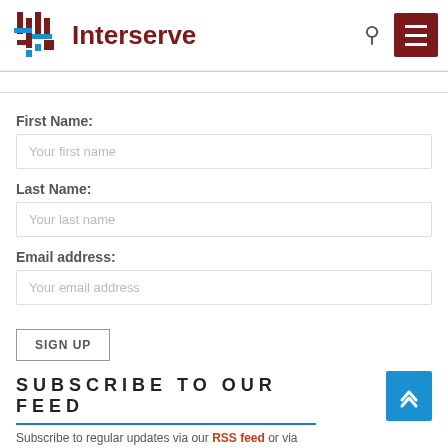Interserve
First Name:
Your first name
Last Name:
Your last name
Email address:
Your email address
SIGN UP
SUBSCRIBE TO OUR FEED
Subscribe to regular updates via our RSS feed or via